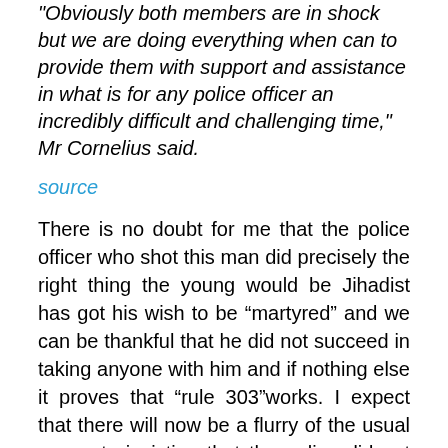"Obviously both members are in shock but we are doing everything when can to provide them with support and assistance in what is for any police officer an incredibly difficult and challenging time," Mr Cornelius said.
source
There is no doubt for me that the police officer who shot this man did precisely the right thing the young would be Jihadist has got his wish to be “martyred” and we can be thankful that he did not succeed in taking anyone with him and if nothing else it proves that “rule 303”works. I expect that there will now be a flurry of the usual suspects insisting that the police did not have to kill this young man, or that he was a “child”.
The police did the right thing the threat was quickly neutralized and anyone who thinks the Jihadists are